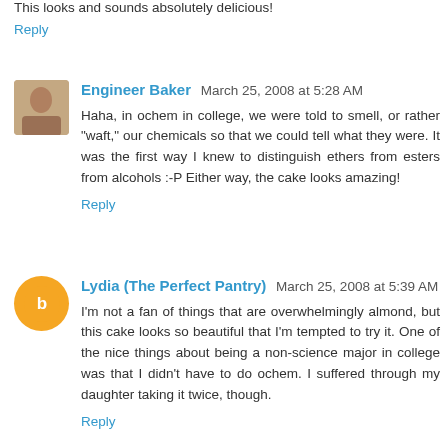This looks and sounds absolutely delicious!
Reply
Engineer Baker  March 25, 2008 at 5:28 AM
Haha, in ochem in college, we were told to smell, or rather "waft," our chemicals so that we could tell what they were. It was the first way I knew to distinguish ethers from esters from alcohols :-P Either way, the cake looks amazing!
Reply
Lydia (The Perfect Pantry)  March 25, 2008 at 5:39 AM
I'm not a fan of things that are overwhelmingly almond, but this cake looks so beautiful that I'm tempted to try it. One of the nice things about being a non-science major in college was that I didn't have to do ochem. I suffered through my daughter taking it twice, though.
Reply